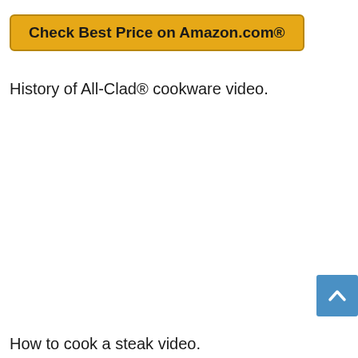[Figure (other): Yellow button with text 'Check Best Price on Amazon.com®' with dark yellow/brown border]
History of All-Clad® cookware video.
[Figure (other): Blue scroll-to-top button with upward chevron arrow in bottom-right corner]
How to cook a steak video.